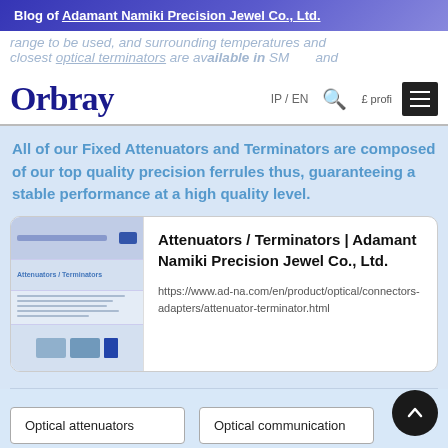Blog of Adamant Namiki Precision Jewel Co., Ltd.
…range to be used, and surrounding temperatures and closest optical terminators are available in SM and PC, and (on) … and are compa… £ profi…
[Figure (screenshot): Orbray logo navigation bar with IP/EN language toggle, search icon, and hamburger menu]
All of our Fixed Attenuators and Terminators are composed of our top quality precision ferrules thus, guaranteeing a stable performance at a high quality level.
[Figure (screenshot): Link card preview of Attenuators / Terminators page on ad-na.com showing thumbnail of product page]
Attenuators / Terminators | Adamant Namiki Precision Jewel Co., Ltd.
https://www.ad-na.com/en/product/optical/connectors-adapters/attenuator-terminator.html
Optical attenuators
Optical communication
Optical terminators